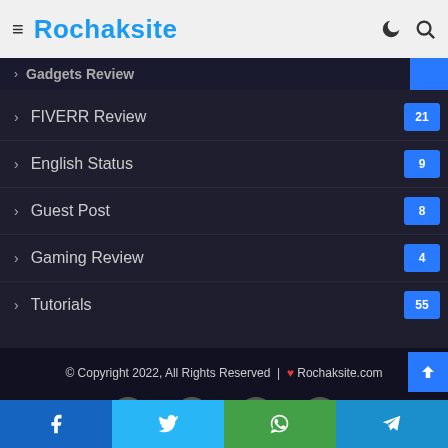Rochaksite
Gadgets Review
FIVERR Review 21
English Status 9
Guest Post 8
Gaming Review 4
Tutorials 55
© Copyright 2022, All Rights Reserved | ❤ Rochaksite.com
[Figure (screenshot): Social media icons: Facebook, Twitter, YouTube, Instagram in footer]